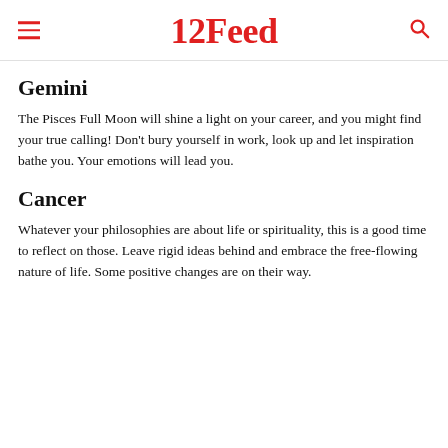12Feed
Gemini
The Pisces Full Moon will shine a light on your career, and you might find your true calling! Don't bury yourself in work, look up and let inspiration bathe you. Your emotions will lead you.
Cancer
Whatever your philosophies are about life or spirituality, this is a good time to reflect on those. Leave rigid ideas behind and embrace the free-flowing nature of life. Some positive changes are on their way.